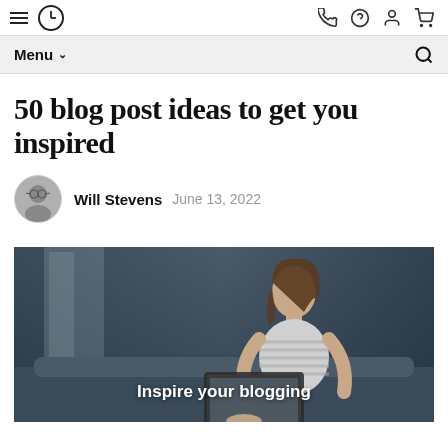Navigation bar with hamburger menu, logo, phone, help, user, and cart icons
Menu ∨  [search icon]
50 blog post ideas to get you inspired
Will Stevens  June 13, 2022
[Figure (photo): Woman sitting on a couch with a laptop, looking thoughtful, in a dimly lit room. Text overlay reads 'Inspire your blogging']